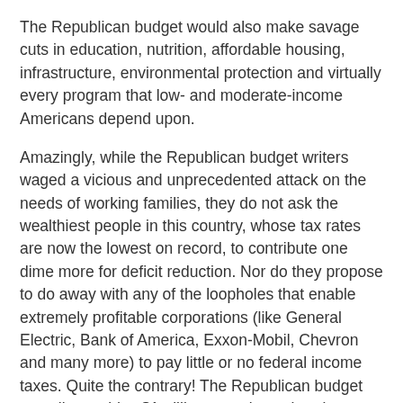The Republican budget would also make savage cuts in education, nutrition, affordable housing, infrastructure, environmental protection and virtually every program that low- and moderate-income Americans depend upon.
Amazingly, while the Republican budget writers waged a vicious and unprecedented attack on the needs of working families, they do not ask the wealthiest people in this country, whose tax rates are now the lowest on record, to contribute one dime more for deficit reduction. Nor do they propose to do away with any of the loopholes that enable extremely profitable corporations (like General Electric, Bank of America, Exxon-Mobil, Chevron and many more) to pay little or no federal income taxes. Quite the contrary! The Republican budget actually provides $1 trillion more in tax breaks over the next 10 years for the very rich.
Further, at a time when defense spending has more than tripled since 1997 and now consumes more than half of the discretionary budget, the Republican budget does nothing to reduce unnecessary military spending.